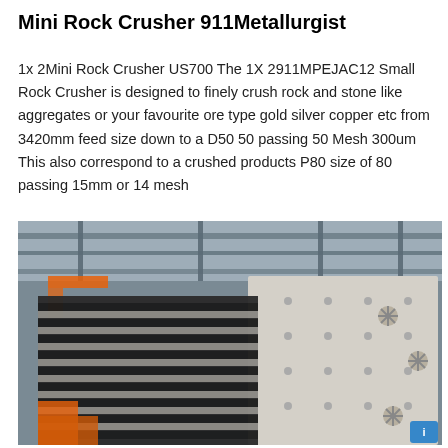Mini Rock Crusher 911Metallurgist
1x 2Mini Rock Crusher US700 The 1X 2911MPEJAC12 Small Rock Crusher is designed to finely crush rock and stone like aggregates or your favourite ore type gold silver copper etc from 3420mm feed size down to a D50 50 passing 50 Mesh 300um This also correspond to a crushed products P80 size of 80 passing 15mm or 14 mesh
[Figure (photo): Industrial photograph showing large rock crusher jaw plates and crusher components stacked in a manufacturing facility or warehouse, with steel structural beams visible overhead and orange crane/equipment visible in the background.]